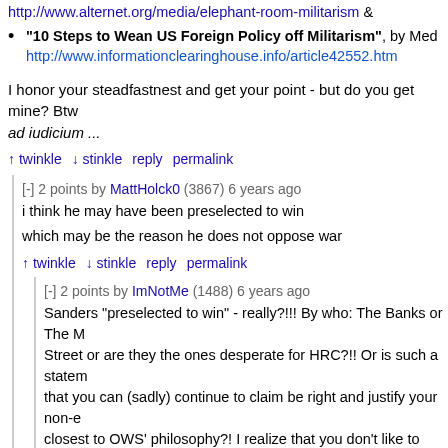URL: http://www.alternet.org/media/elephant-room-militarism &
"10 Steps to Wean US Foreign Policy off Militarism", by Me... http://www.informationclearinghouse.info/article42552.htm
I honor your steadfastnest and get your point - but do you get mine? Btw... ad iudicium ...
twinkle stinkle reply permalink
[-] 2 points by MattHolck0 (3867) 6 years ago
i think he may have been preselected to win
which may be the reason he does not oppose war
twinkle stinkle reply permalink
[-] 2 points by ImNotMe (1488) 6 years ago
Sanders "preselected to win" - really?!!! By who: The Banks or The ... Street or are they the ones desperate for HRC?!! Or is such a statem... that you can (sadly) continue to claim be right and justify your non-e... closest to OWS' philosophy?! I realize that you don't like to read any... challenge what you might think you may know but for other readers...
http://www.truth-out.org/opinion/item/34643-contextualizing-h... against-bernie-sanders
http://www.truth-out.org/news/item/34645-the-most-expensive... playground-except-for-bernie-sanders &
http://www.truth-out.org/opinion/item/34641-another-hillary-fa... it-out-pre-crisis-she-blamed-homeowners